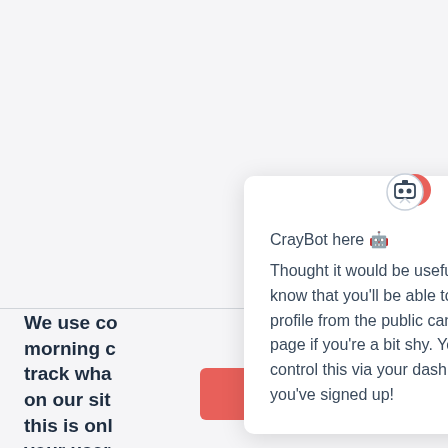We use co morning c track wha on our sit this is onl your user Crayon.
[Figure (screenshot): CrayBot popup card with robot icon, close button, title 'CrayBot here 🤖', and body text about hiding profile from public candidates page, with a 'Cool' dismiss button and a red chat FAB in the bottom right]
CrayBot here 🤖
Thought it would be useful to let you know that you'll be able to hide your profile from the public candidates page if you're a bit shy. You can control this via your dashboard once you've signed up!
Cool